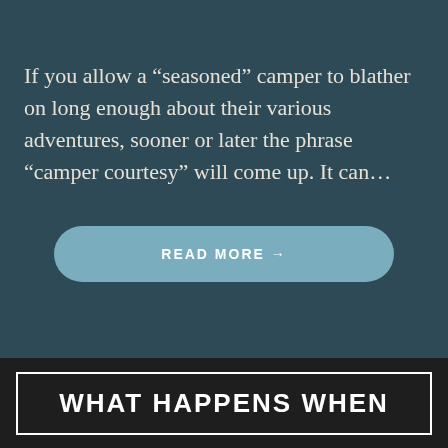If you allow a “seasoned” camper to blather on long enough about their various adventures, sooner or later the phrase “camper courtesy” will come up. It can…
READ MORE →
WHAT HAPPENS WHEN